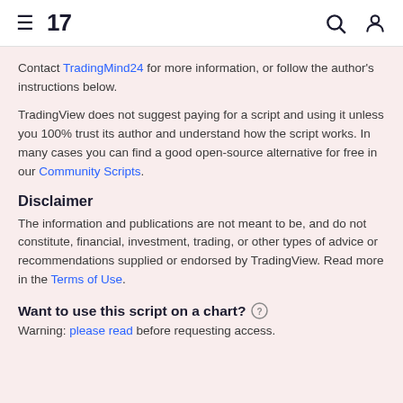TradingView
Contact TradingMind24 for more information, or follow the author's instructions below.
TradingView does not suggest paying for a script and using it unless you 100% trust its author and understand how the script works. In many cases you can find a good open-source alternative for free in our Community Scripts.
Disclaimer
The information and publications are not meant to be, and do not constitute, financial, investment, trading, or other types of advice or recommendations supplied or endorsed by TradingView. Read more in the Terms of Use.
Want to use this script on a chart?
Warning: please read before requesting access.